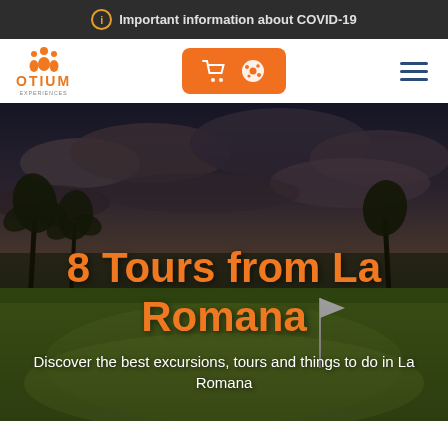ⓘ Important information about COVID-19
[Figure (logo): Otium logo with orange figure icon and text OTIUM in orange with subtitle]
[Figure (other): Orange button with shopping cart icon and cookie/settings icon]
[Figure (other): Hamburger menu icon with three blue horizontal lines]
[Figure (photo): Hero background photo of a tropical golf course at dusk with palm trees, green fairway, a golf flag, and dramatic cloudy sky]
8 Tours from La Romana
Discover the best excursions, tours and things to do in La Romana